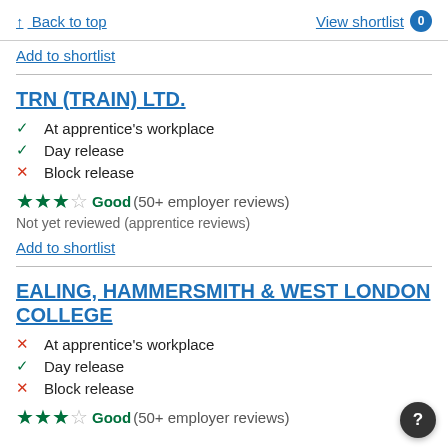↑ Back to top | View shortlist 0
Add to shortlist
TRN (TRAIN) LTD.
✓ At apprentice's workplace
✓ Day release
✗ Block release
★★★☆ Good (50+ employer reviews)
Not yet reviewed (apprentice reviews)
Add to shortlist
EALING, HAMMERSMITH & WEST LONDON COLLEGE
✗ At apprentice's workplace
✓ Day release
✗ Block release
★★★☆ Good (50+ employer reviews)